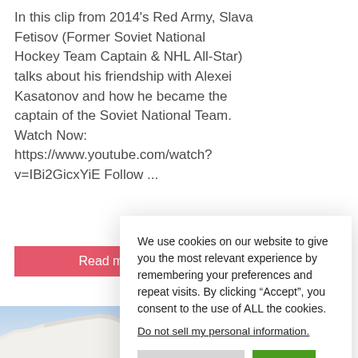In this clip from 2014's Red Army, Slava Fetisov (Former Soviet National Hockey Team Captain & NHL All-Star) talks about his friendship with Alexei Kasatonov and how he became the captain of the Soviet National Team. Watch Now: https://www.youtube.com/watch?v=IBi2GicxYiE Follow ...
Read more
Sony Pictu
We use cookies on our website to give you the most relevant experience by remembering your preferences and repeat visits. By clicking “Accept”, you consent to the use of ALL the cookies.
Do not sell my personal information.
Cookie Settings
Accept
Privacy Policy
[Figure (photo): Partial view of white chalk cliffs and landscape at the bottom of the page]